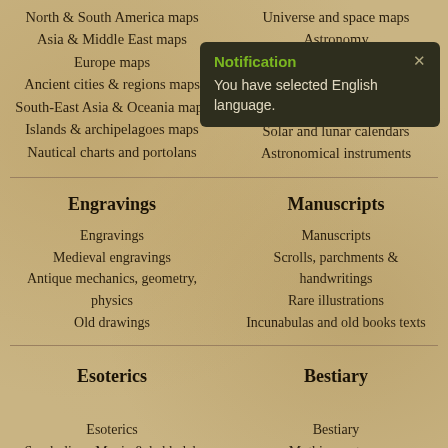North & South America maps
Universe and space maps
Asia & Middle East maps
Astronomy
Europe maps
Ancient cities & regions maps
Celestial atlases
South-East Asia & Oceania maps
Solar and lunar calendars
Islands & archipelagoes maps
Astronomical instruments
Nautical charts and portolans
[Figure (screenshot): Notification popup saying 'You have selected English language.' with green 'Notification' header title and close button]
Engravings
Manuscripts
Engravings
Manuscripts
Medieval engravings
Scrolls, parchments & handwritings
Antique mechanics, geometry, physics
Rare illustrations
Old drawings
Incunabulas and old books texts
Esoterics
Bestiary
Esoterics
Bestiary
Symbolism, Magic & kabbalah
Mythic creatures
Alchemy
Heraldry